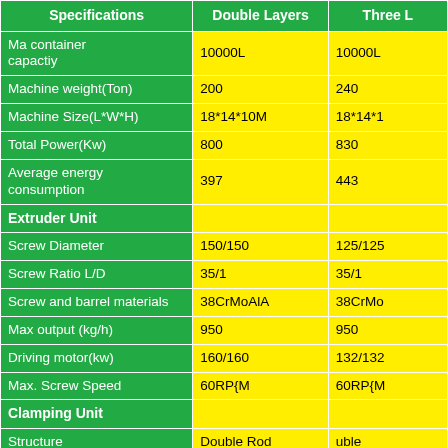| Specifications | Double Layers | Three L... |
| --- | --- | --- |
| Max container capactiy | 10000L | 10000L |
| Machine weight(Ton) | 200 | 240 |
| Machine Size(L*W*H) | 18*14*10M | 18*14*1... |
| Total Power(Kw) | 800 | 830 |
| Average energy consumption | 397 | 443 |
| Extruder Unit |  |  |
| Screw Diameter | 150/150 | 125/125... |
| Screw Ratio L/D | 35/1 | 35/1 |
| Screw and barrel materials | 38CrMoAlA | 38CrMo... |
| Max output (kg/h) | 950 | 950 |
| Driving motor(kw) | 160/160 | 132/132... |
| Max. Screw Speed | 60RP{M | 60RP{M... |
| Clamping Unit |  |  |
| Structure | Double Rod | ...uble |
| Platen opening stroke(MM) | 1700-4500 | ...0-45... |
| Template Size(MM) | 3000-4000 | ...40... |
| Max.Mould Size(MM) | 2800*3400 | ...34... |